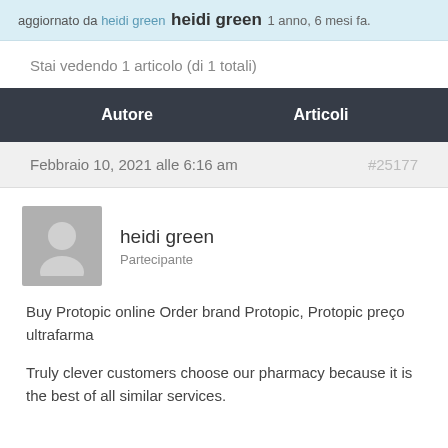aggiornato da heidi green 1 anno, 6 mesi fa.
Stai vedendo 1 articolo (di 1 totali)
| Autore | Articoli |
| --- | --- |
| Febbraio 10, 2021 alle 6:16 am | #25177 |
| heidi green
Partecipante |  |
| Buy Protopic online Order brand Protopic, Protopic preço ultrafarma

Truly clever customers choose our pharmacy because it is the best of all similar services. |  |
Buy Protopic online Order brand Protopic, Protopic preço ultrafarma
Truly clever customers choose our pharmacy because it is the best of all similar services.